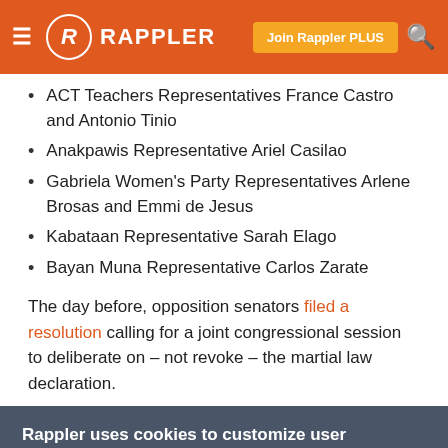RAPPLER
ACT Teachers Representatives France Castro and Antonio Tinio
Anakpawis Representative Ariel Casilao
Gabriela Women's Party Representatives Arlene Brosas and Emmi de Jesus
Kabataan Representative Sarah Elago
Bayan Muna Representative Carlos Zarate
The day before, opposition senators filed a resolution calling for a joint congressional session to deliberate on – not revoke – the martial law declaration.
Rappler uses cookies to customize user experience
By continued use, you agree to our privacy policy and accept our use of such cookies. For further information, click find out more
I ACCEPT